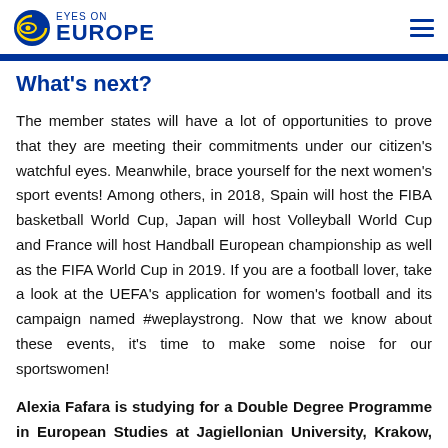EYES ON EUROPE
What's next?
The member states will have a lot of opportunities to prove that they are meeting their commitments under our citizen's watchful eyes. Meanwhile, brace yourself for the next women's sport events! Among others, in 2018, Spain will host the FIBA basketball World Cup, Japan will host Volleyball World Cup and France will host Handball European championship as well as the FIFA World Cup in 2019. If you are a football lover, take a look at the UEFA's application for women's football and its campaign named #weplaystrong. Now that we know about these events, it's time to make some noise for our sportswomen!
Alexia Fafara is studying for a Double Degree Programme in European Studies at Jagiellonian University, Krakow, Poland and the Institute of Political Studies in Strasbourg, France.